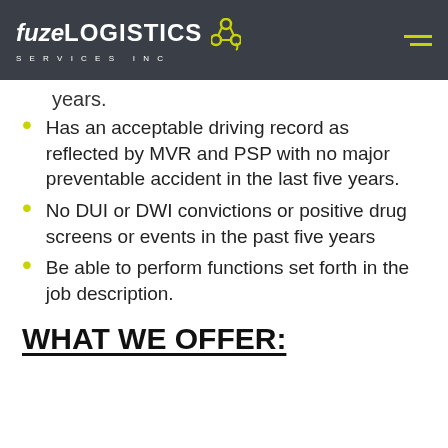fuzeLogistics Services Inc
years.
Has an acceptable driving record as reflected by MVR and PSP with no major preventable accident in the last five years.
No DUI or DWI convictions or positive drug screens or events in the past five years
Be able to perform functions set forth in the job description.
WHAT WE OFFER: